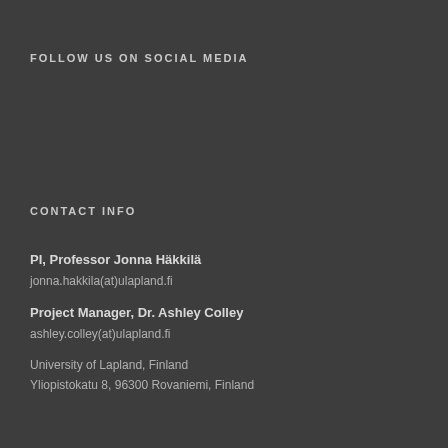FOLLOW US ON SOCIAL MEDIA
[Figure (illustration): Three social media icons: Facebook (f), YouTube (play button triangle in rounded square), Instagram (camera in rounded square)]
CONTACT INFO
PI, Professor Jonna Häkkilä
jonna.hakkila(at)ulapland.fi
Project Manager, Dr. Ashley Colley
ashley.colley(at)ulapland.fi
University of Lapland, Finland
Yliopistokatu 8, 96300 Rovaniemi, Finland